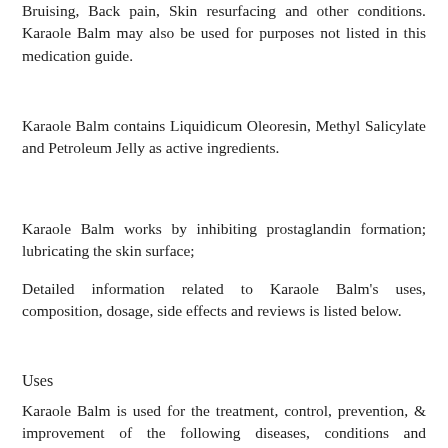Bruising, Back pain, Skin resurfacing and other conditions. Karaole Balm may also be used for purposes not listed in this medication guide.
Karaole Balm contains Liquidicum Oleoresin, Methyl Salicylate and Petroleum Jelly as active ingredients.
Karaole Balm works by inhibiting prostaglandin formation; lubricating the skin surface;
Detailed information related to Karaole Balm's uses, composition, dosage, side effects and reviews is listed below.
Uses
Karaole Balm is used for the treatment, control, prevention, & improvement of the following diseases, conditions and symptoms: